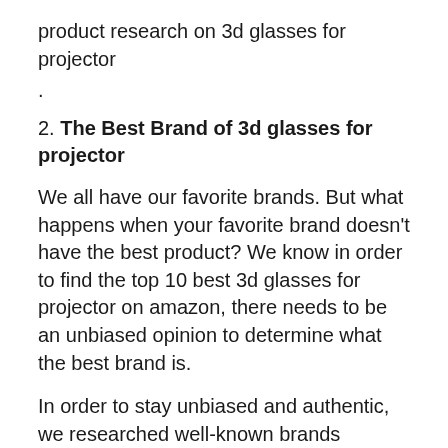product research on 3d glasses for projector
.
2. The Best Brand of 3d glasses for projector
We all have our favorite brands. But what happens when your favorite brand doesn't have the best product? We know in order to find the top 10 best 3d glasses for projector on amazon, there needs to be an unbiased opinion to determine what the best brand is.
In order to stay unbiased and authentic, we researched well-known brands alongside newer, less known brands. For the best 3d glasses for projector on amazon, we continue to do our product investigation and brand tests.